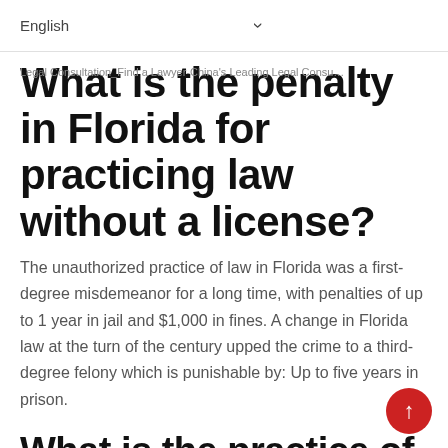English
Legal Consultation_Find a Lawyer-China's Leading Legal Consultation
What is the penalty in Florida for practicing law without a license?
The unauthorized practice of law in Florida was a first-degree misdemeanor for a long time, with penalties of up to 1 year in jail and $1,000 in fines. A change in Florida law at the turn of the century upped the crime to a third-degree felony which is punishable by: Up to five years in prison.
What is the practice of law in Florida?
The Unlicensed Practice of Law (UPL) program was established by the Supreme Court of Florida to